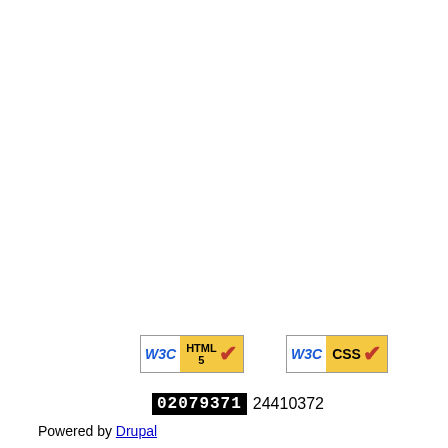[Figure (logo): W3C HTML5 validation badge with blue W3C text, HTML5 label, and red checkmark on yellow background]
[Figure (logo): W3C CSS validation badge with blue W3C text, CSS label, and red checkmark on yellow background]
02079371 24410372
Powered by Drupal